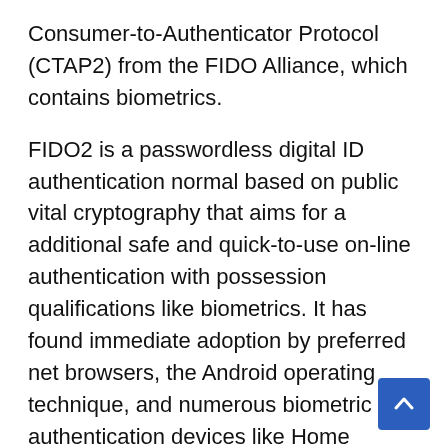Consumer-to-Authenticator Protocol (CTAP2) from the FIDO Alliance, which contains biometrics.
FIDO2 is a passwordless digital ID authentication normal based on public vital cryptography that aims for a additional safe and quick-to-use on-line authentication with possession qualifications like biometrics. It has found immediate adoption by preferred net browsers, the Android operating technique, and numerous biometric authentication devices like Home windows Hello and Keyless.
The researchers write in the paper that there is a deficiency of assessment on the cryptographic provable stability strategy to the FIDO2 secure the CTAP2 and the